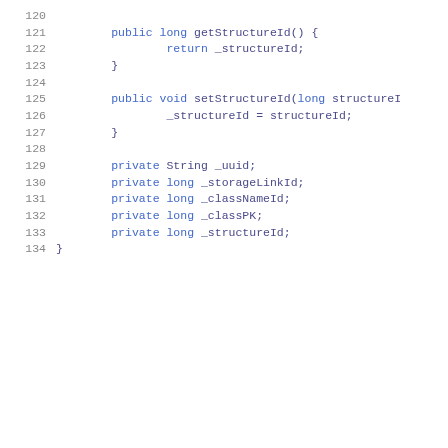[Figure (screenshot): Java source code snippet showing lines 120-134 with getStructureId() and setStructureId() methods and private field declarations (_uuid, _storageLinkId, _classNameId, _classPK, _structureId) in a monospace blue font with line numbers.]